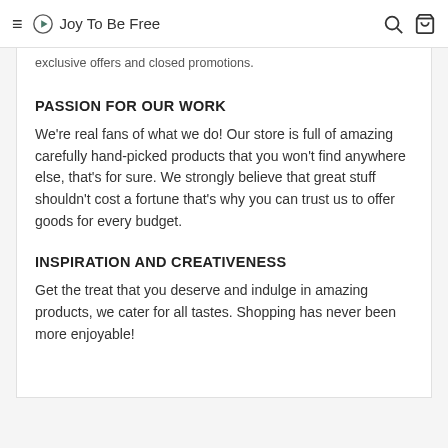Joy To Be Free
exclusive offers and closed promotions.
PASSION FOR OUR WORK
We're real fans of what we do! Our store is full of amazing carefully hand-picked products that you won't find anywhere else, that's for sure. We strongly believe that great stuff shouldn't cost a fortune that's why you can trust us to offer goods for every budget.
INSPIRATION AND CREATIVENESS
Get the treat that you deserve and indulge in amazing products, we cater for all tastes. Shopping has never been more enjoyable!